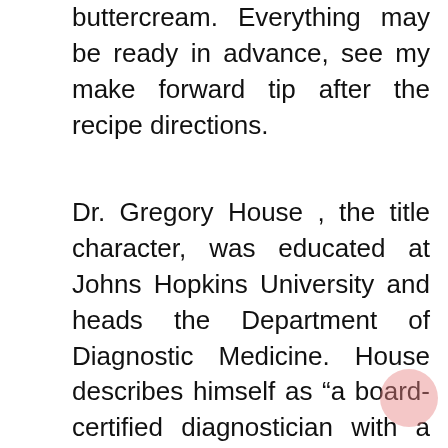buttercream. Everything may be ready in advance, see my make forward tip after the recipe directions.
Dr. Gregory House , the title character, was educated at Johns Hopkins University and heads the Department of Diagnostic Medicine. House describes himself as “a board-certified diagnostician with a double specialty of infectious illness and nephrology”. Dr. James Wilson , House’s one true good friend, is the head of the Department of Oncology. Dr. Lisa Cuddy , an endocrinologist, is House’s boss, as she is the hospital’s dean of medication and chief